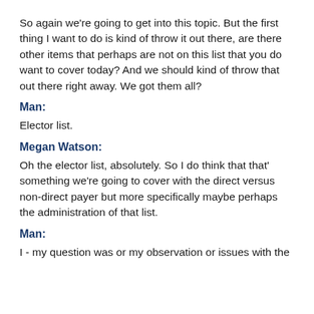So again we're going to get into this topic. But the first thing I want to do is kind of throw it out there, are there other items that perhaps are not on this list that you do want to cover today? And we should kind of throw that out there right away. We got them all?
Man:
Elector list.
Megan Watson:
Oh the elector list, absolutely. So I do think that that' something we're going to cover with the direct versus non-direct payer but more specifically maybe perhaps the administration of that list.
Man:
I - my question was or my observation or issues with the